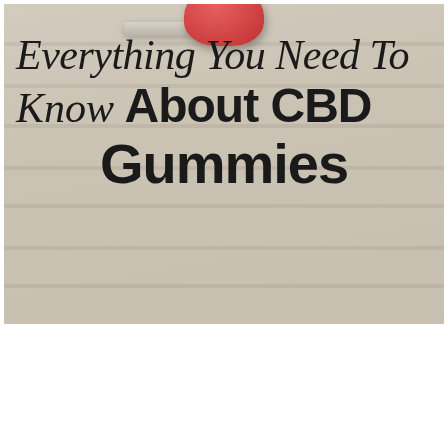[Figure (illustration): Photo of white wooden plank surface with a red gummy/jar visible at the top, overlaid with text reading 'Everything You Need To Know About CBD Gummies']